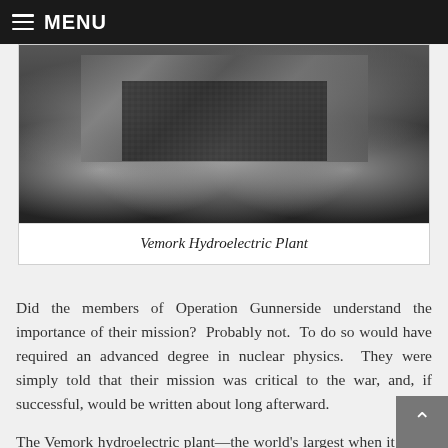MENU
[Figure (photo): Black and white aerial photograph of Vemork Hydroelectric Plant, showing a large industrial building complex nestled into a steep forested mountainside.]
Vemork Hydroelectric Plant
Did the members of Operation Gunnerside understand the importance of their mission? Probably not. To do so would have required an advanced degree in nuclear physics. They were simply told that their mission was critical to the war, and, if successful, would be written about long afterward.
The Vemork hydroelectric plant—the world's largest when it came on line in 1911, was originally dedicated